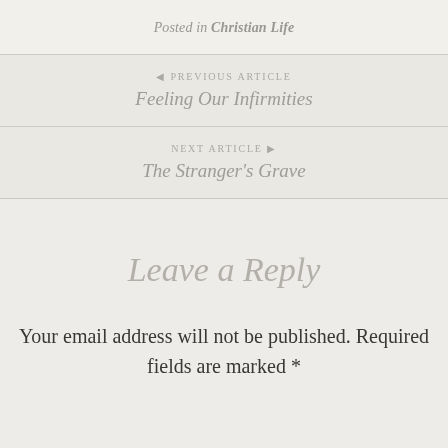Posted in Christian Life
◄ PREVIOUS ARTICLE
Feeling Our Infirmities
NEXT ARTICLE ►
The Stranger's Grave
Leave a Reply
Your email address will not be published. Required fields are marked *